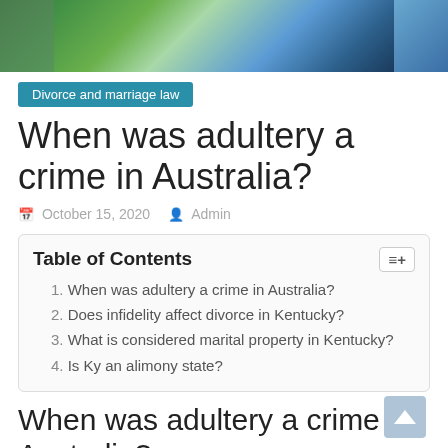[Figure (illustration): Illustration showing two people in a domestic/legal scene with green and teal colors]
Divorce and marriage law
When was adultery a crime in Australia?
October 15, 2020   Admin
| Table of Contents |
| --- |
| 1. When was adultery a crime in Australia? |
| 2. Does infidelity affect divorce in Kentucky? |
| 3. What is considered marital property in Kentucky? |
| 4. Is Ky an alimony state? |
When was adultery a crime in Australia?